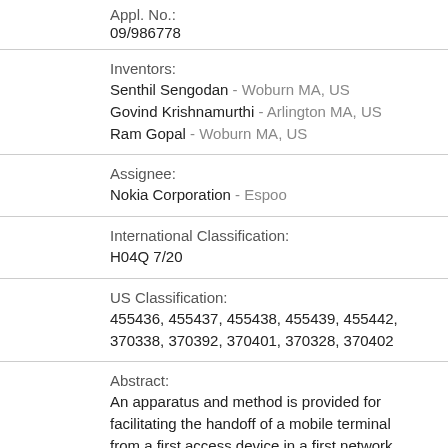Appl. No.:
09/986778
Inventors:
Senthil Sengodan - Woburn MA, US
Govind Krishnamurthi - Arlington MA, US
Ram Gopal - Woburn MA, US
Assignee:
Nokia Corporation - Espoo
International Classification:
H04Q 7/20
US Classification:
455436, 455437, 455438, 455439, 455442, 370338, 370392, 370401, 370328, 370402
Abstract:
An apparatus and method is provided for facilitating the handoff of a mobile terminal from a first access device in a first network to a